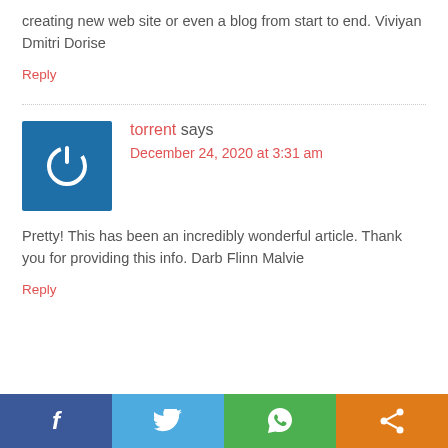creating new web site or even a blog from start to end. Viviyan Dmitri Dorise
Reply
torrent says
December 24, 2020 at 3:31 am
Pretty! This has been an incredibly wonderful article. Thank you for providing this info. Darb Flinn Malvie
Reply